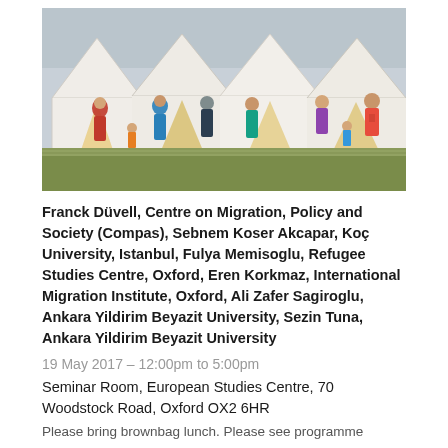[Figure (photo): Photograph of a refugee camp with large white tents and people of various ages standing and walking on a grassy field.]
Franck Düvell, Centre on Migration, Policy and Society (Compas), Sebnem Koser Akcapar, Koç University, Istanbul, Fulya Memisoglu, Refugee Studies Centre, Oxford, Eren Korkmaz, International Migration Institute, Oxford, Ali Zafer Sagiroglu, Ankara Yildirim Beyazit University, Sezin Tuna, Ankara Yildirim Beyazit University
19 May 2017 – 12:00pm to 5:00pm
Seminar Room, European Studies Centre, 70 Woodstock Road, Oxford OX2 6HR
Please bring brownbag lunch. Please see programme